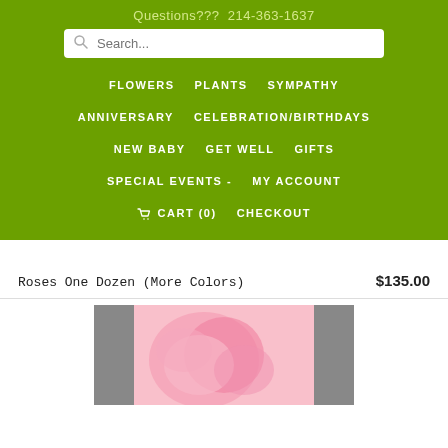Questions???  214-363-1637
Search...
FLOWERS
PLANTS
SYMPATHY
ANNIVERSARY
CELEBRATION/BIRTHDAYS
NEW BABY
GET WELL
GIFTS
SPECIAL EVENTS -
MY ACCOUNT
CART (0)
CHECKOUT
Roses One Dozen (More Colors)
$135.00
[Figure (photo): Partially visible photo of pink roses with grey background panels on sides]